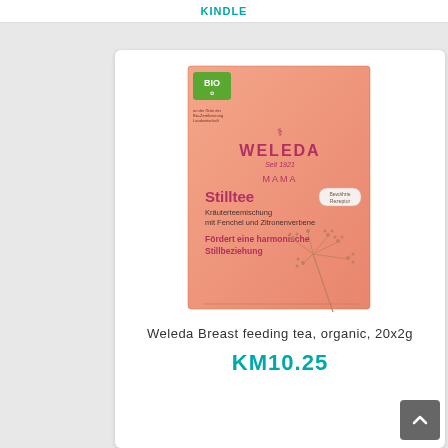KINDLE
[Figure (photo): Weleda Stilltee product box - a salmon/peach colored box with the WELEDA logo, Seit 1921 tagline, MAMA label, Stilltee heading, Kräuterteemischung mit Fenchel und Zitronenverbene, Fördert eine harmonische Stillbeziehung, with a fennel botanical illustration and Bio logo]
Weleda Breast feeding tea, organic, 20x2g
KM10.25